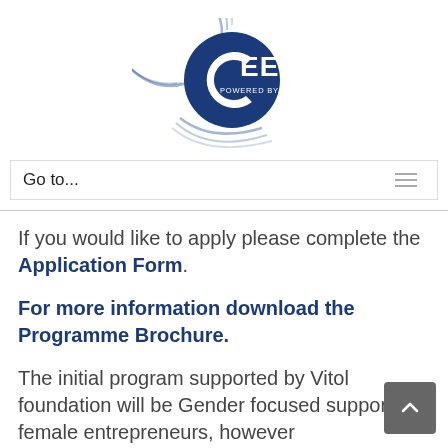[Figure (logo): CEED Powered by SEAF logo — circular swoosh lines in blue with CEED text and POWERED BY SEAF tagline]
Go to...
If you would like to apply please complete the Application Form.
For more information download the Programme Brochure.
The initial program supported by Vitol foundation will be Gender focused supporting female entrepreneurs, however